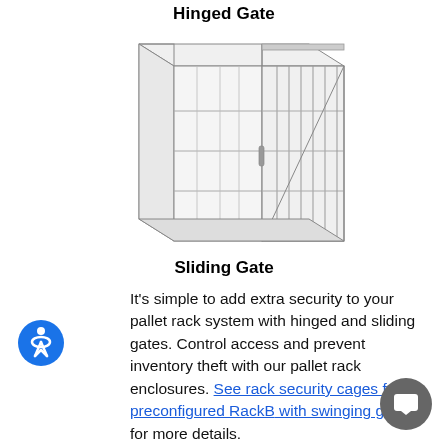Hinged Gate
[Figure (illustration): Line drawing of a pallet rack enclosure with sliding gate, shown in isometric view. Wire mesh panels with horizontal shelving inside and a sliding gate door on the right side.]
Sliding Gate
It's simple to add extra security to your pallet rack system with hinged and sliding gates. Control access and prevent inventory theft with our pallet rack enclosures. See rack security cages for preconfigured RackB with swinging gates for more details.